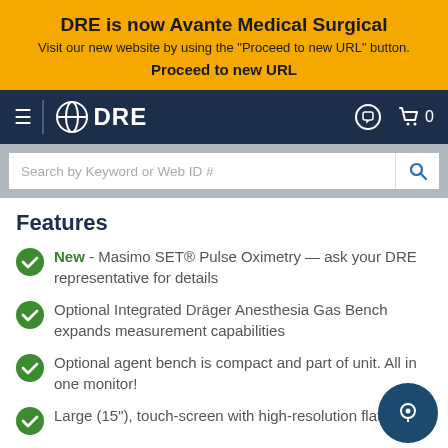DRE is now Avante Medical Surgical
Visit our new website by using the "Proceed to new URL" button.
Proceed to new URL
[Figure (screenshot): DRE navigation bar with hamburger menu, globe-DRE logo, chat icon, and shopping cart with 0 items on dark navy background]
[Figure (screenshot): Search bar with placeholder text 'Search by Keyword or Web ID #' and blue search icon button]
Features
New - Masimo SET® Pulse Oximetry — ask your DRE representative for details
Optional Integrated Dräger Anesthesia Gas Bench expands measurement capabilities
Optional agent bench is compact and part of unit. All in one monitor!
Large (15"), touch-screen with high-resolution flat